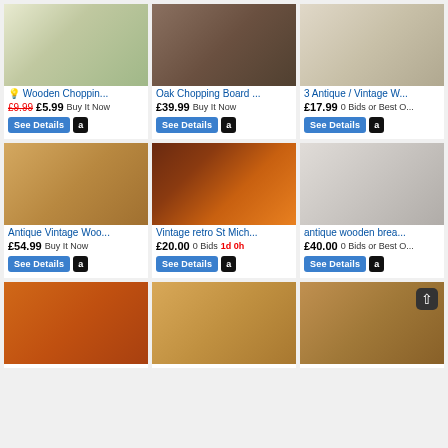[Figure (screenshot): E-commerce product listing grid showing 9 chopping/bread boards for sale with prices and buy buttons]
Wooden Choppin... £9.99 £5.99 Buy It Now
Oak Chopping Board ... £39.99 Buy It Now
3 Antique / Vintage W... £17.99 0 Bids or Best O...
Antique Vintage Woo... £54.99 Buy It Now
Vintage retro St Mich... £20.00 0 Bids 1d 0h
antique wooden brea... £40.00 0 Bids or Best O...